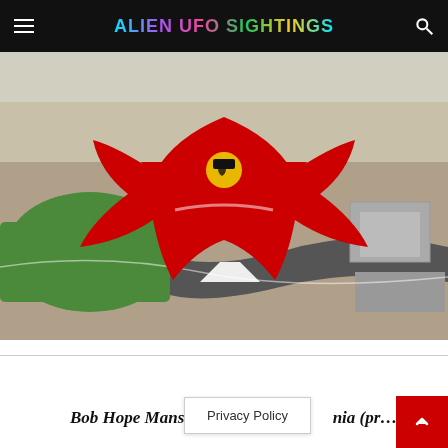ALIEN UFO SIGHTINGS
[Figure (photo): Aerial view of Ferrari World Abu Dhabi theme park with large red star-shaped roof structure bearing Ferrari logo, surrounded by race track, green grass areas, and desert landscape]
Bob Hope Mansion, Southrn...nia (pr...
Privacy Policy